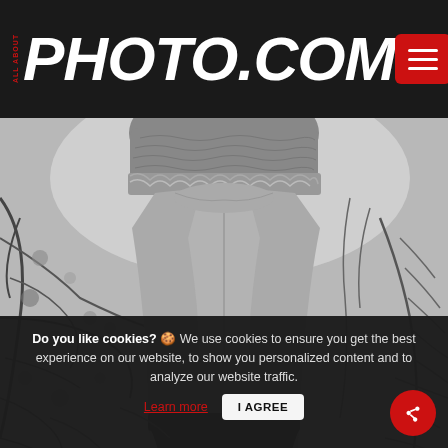ALL ABOUT PHOTO.COM
[Figure (photo): Black and white photograph of a person from behind with hat, wearing layered clothing including a light jacket and dark pants, standing among bare tree branches and foliage]
© Jesse Lenz
Do you like cookies? 🍪 We use cookies to ensure you get the best experience on our website, to show you personalized content and to analyze our website traffic. Learn more | I AGREE